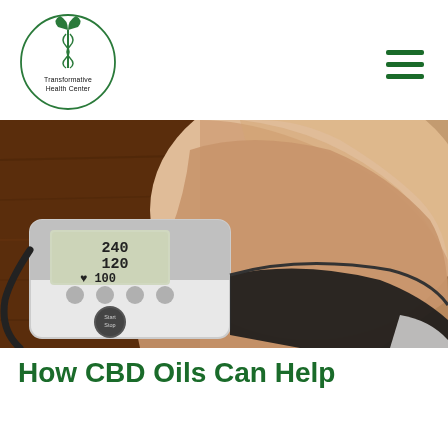[Figure (logo): Transformative Health Center logo: circular border with caduceus symbol and text 'Transformative Health Center']
[Figure (photo): A hand with a wrist blood pressure monitor on a wooden table, monitor display showing 240, 120, and 100 with a heart symbol]
How CBD Oils Can Help